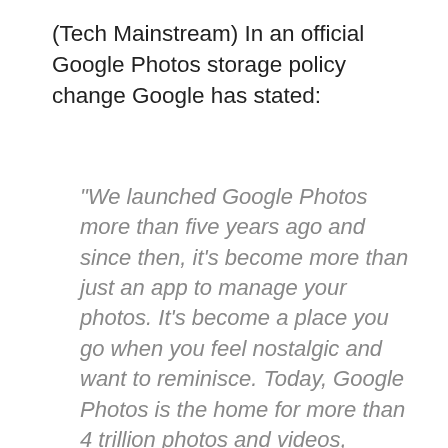(Tech Mainstream) In an official Google Photos storage policy change Google has stated:
"We launched Google Photos more than five years ago and since then, it's become more than just an app to manage your photos. It's become a place you go when you feel nostalgic and want to reminisce. Today, Google Photos is the home for more than 4 trillion photos and videos, including yours, and a remarkable 28 billion new photos and videos are uploaded every week. In order to welcome even more of your memories and build Google Photos for the future, we are announcing a change to our storage